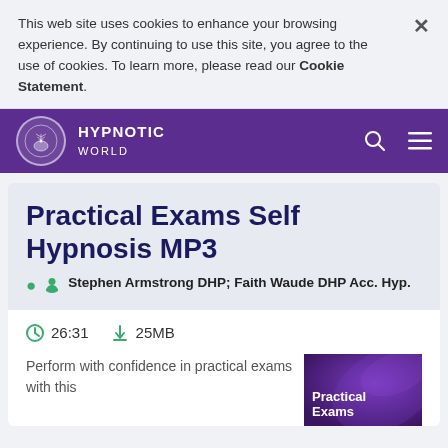This web site uses cookies to enhance your browsing experience. By continuing to use this site, you agree to the use of cookies. To learn more, please read our Cookie Statement.
HYPNOTIC WORLD
Practical Exams Self Hypnosis MP3
Stephen Armstrong DHP; Faith Waude DHP Acc. Hyp.
26:31   25MB
Perform with confidence in practical exams with this
[Figure (illustration): Purple abstract background with text 'Practical Exams' overlaid in white bold font]